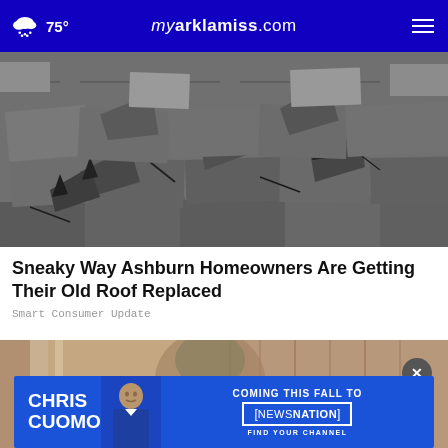75° myarklamiss.com
[Figure (photo): Black and white photo of damaged roof shingles, curled and broken, viewed from close-up at a low angle]
Sneaky Way Ashburn Homeowners Are Getting Their Old Roof Replaced
Smart Consumer Update
[Figure (photo): Partial view of a person near metallic surfaces, partially obscured by an advertisement overlay]
[Figure (infographic): Advertisement banner: CHRIS CUOMO - COMING THIS FALL TO [NEWSNATION] FIND YOUR CHANNEL]